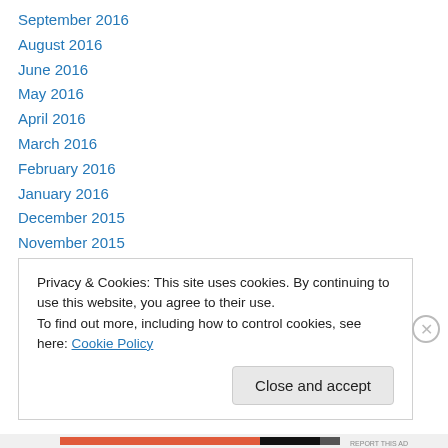September 2016
August 2016
June 2016
May 2016
April 2016
March 2016
February 2016
January 2016
December 2015
November 2015
October 2015
September 2015
August 2015
Privacy & Cookies: This site uses cookies. By continuing to use this website, you agree to their use.
To find out more, including how to control cookies, see here: Cookie Policy